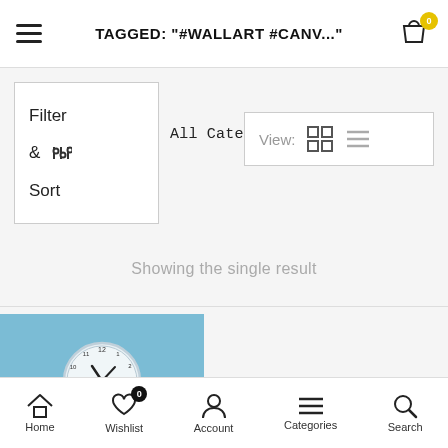TAGGED: "#WALLART #CANV..."
Filter & Sort
All Categories
View:
Showing the single result
[Figure (photo): A round white wall clock with red second hand mounted on a light blue wall]
Home  Wishlist  Account  Categories  Search